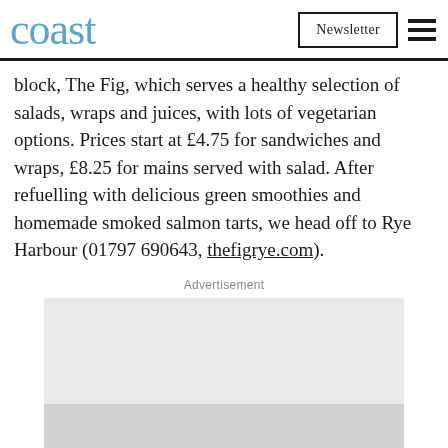coast | Newsletter [hamburger menu]
block, The Fig, which serves a healthy selection of salads, wraps and juices, with lots of vegetarian options. Prices start at £4.75 for sandwiches and wraps, £8.25 for mains served with salad. After refuelling with delicious green smoothies and homemade smoked salmon tarts, we head off to Rye Harbour (01797 690643, thefigrye.com).
Advertisement
[Figure (other): Advertisement placeholder box — light grey rectangle with a darker grey bottom section]